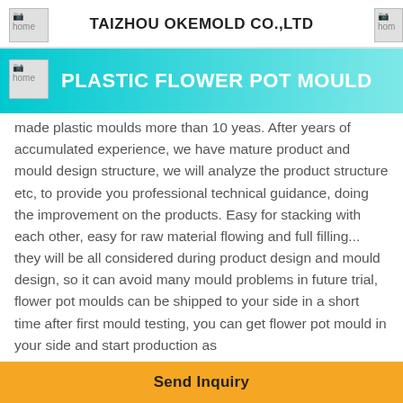TAIZHOU OKEMOLD CO.,LTD
PLASTIC FLOWER POT MOULD
made plastic moulds more than 10 yeas. After years of accumulated experience, we have mature product and mould design structure, we will analyze the product structure etc, to provide you professional technical guidance, doing the improvement on the products. Easy for stacking with each other, easy for raw material flowing and full filling... they will be all considered during product design and mould design, so it can avoid many mould problems in future trial, flower pot moulds can be shipped to your side in a short time after first mould testing, you can get flower pot mould in your side and start production as
Send Inquiry